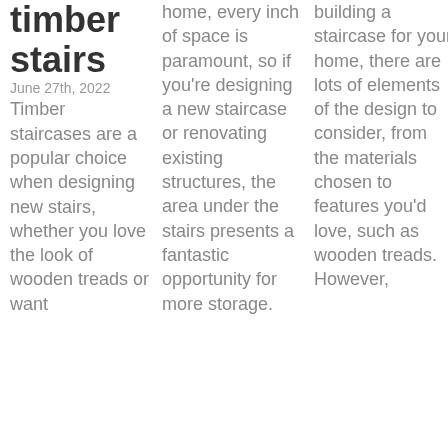timber stairs
June 27th, 2022
Timber staircases are a popular choice when designing new stairs, whether you love the look of wooden treads or want
home, every inch of space is paramount, so if you're designing a new staircase or renovating existing structures, the area under the stairs presents a fantastic opportunity for more storage.
building a staircase for your home, there are lots of elements of the design to consider, from the materials chosen to features you'd love, such as wooden treads. However,